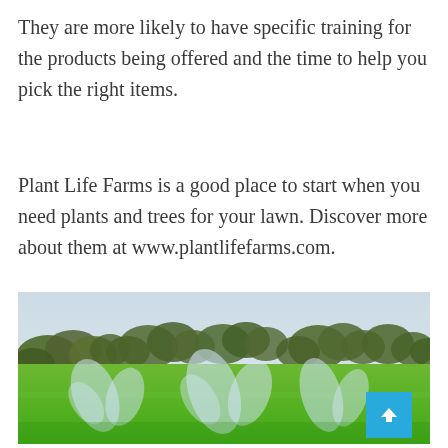They are more likely to have specific training for the products being offered and the time to help you pick the right items.
Plant Life Farms is a good place to start when you need plants and trees for your lawn. Discover more about them at www.plantlifefarms.com.
[Figure (photo): Outdoor lawn scene with green grass in the foreground, sprinkler systems spraying water, and a tree line in the background under an overcast sky.]